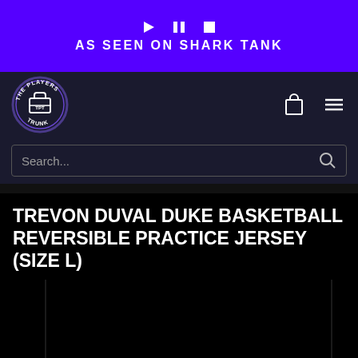AS SEEN ON SHARK TANK
[Figure (logo): The Players Trunk circular logo with briefcase icon]
Search...
TREVON DUVAL DUKE BASKETBALL REVERSIBLE PRACTICE JERSEY (SIZE L)
[Figure (photo): Product image carousel showing jersey, mostly black/dark]